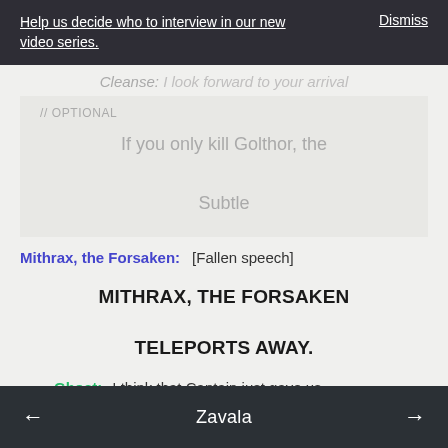Help us decide who to interview in our new video series.   Dismiss
// OPTIONAL
If you only kill Golthor, the

Subtle
Mithrax, the Forsaken:   [Fallen speech]
MITHRAX, THE FORSAKEN TELEPORTS AWAY.
Ghost:  I think that Captain just gave us
← Zavala →